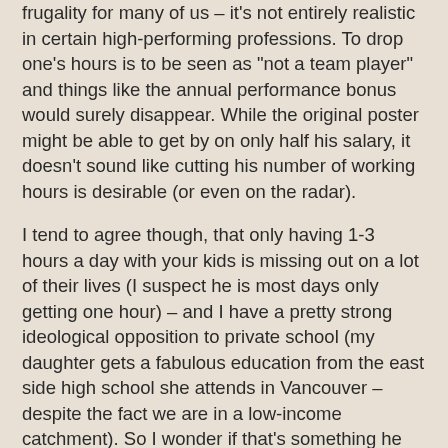frugality for many of us – it's not entirely realistic in certain high-performing professions. To drop one's hours is to be seen as "not a team player" and things like the annual performance bonus would surely disappear. While the original poster might be able to get by on only half his salary, it doesn't sound like cutting his number of working hours is desirable (or even on the radar).
I tend to agree though, that only having 1-3 hours a day with your kids is missing out on a lot of their lives (I suspect he is most days only getting one hour) – and I have a pretty strong ideological opposition to private school (my daughter gets a fabulous education from the east side high school she attends in Vancouver – despite the fact we are in a low-income catchment). So I wonder if that's something he can attend to in terms of both his own involvement and the kind of life lessons his children are going to learn (or not learn) if he keeps them cloistered among the rich.
Like the other posters here, I don't really understand what his question is – except that it seems to be existential. Life is comfortable, now what? Is like asking what is the meaning of life. Now that my physical needs are attended to, what else is there? Like MMM I tend towards an answer that involves nature, a creative pursuit (whether that be woodworking or art or writing or